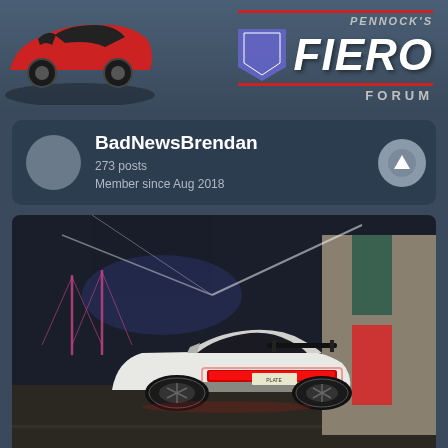[Figure (logo): Pennock's Fiero Forum header logo with red sports car illustration on the left and stylized FIERO text with FORUM subtitle on the right]
BadNewsBrendan
273 posts
Member since Aug 2018
[Figure (photo): White Pontiac Fiero photographed from the rear three-quarter angle at night, with glowing red LED taillights, positioned in an industrial area with a lit bridge visible in the background]
10:40 AM
A guy pulled up to me and was giving me the thumbs up at a stop light in a weird 80s hatch that I thought was a